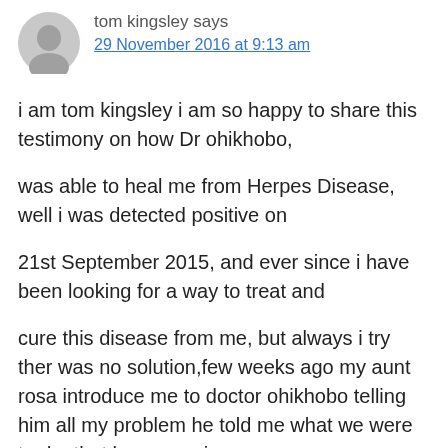tom kingsley says
29 November 2016 at 9:13 am
i am tom kingsley i am so happy to share this testimony on how Dr ohikhobo,
was able to heal me from Herpes Disease, well i was detected positive on
21st September 2015, and ever since i have been looking for a way to treat and
cure this disease from me, but always i try ther was no solution,few weeks ago my aunt rosa introduce me to doctor ohikhobo telling him all my problem he told me what we were to do, that he was going